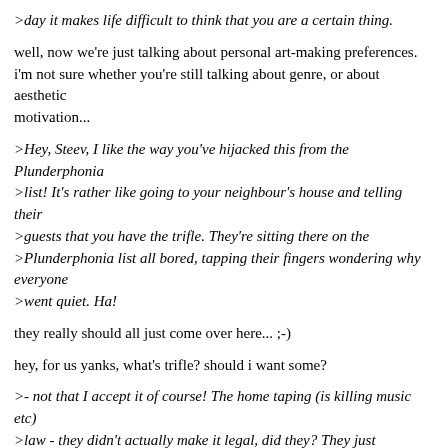>day it makes life difficult to think that you are a certain thing.
well, now we're just talking about personal art-making preferences. i'm not sure whether you're still talking about genre, or about aesthetic
motivation...
>Hey, Steev, I like the way you've hijacked this from the Plunderphonia
>list! It's rather like going to your neighbour's house and telling their
>guests that you have the trifle. They're sitting there on the
>Plunderphonia list all bored, tapping their fingers wondering why everyone
>went quiet. Ha!
they really should all just come over here... ;-)
hey, for us yanks, what's trifle? should i want some?
>- not that I accept it of course! The home taping (is killing music etc)
>law - they didn't actually make it legal, did they? They just
>decriminalized it. And didn't really bother to tell anyone. But I may be
>>wrong. I'm sure you'll know; and tell me. I'm thinking that this will